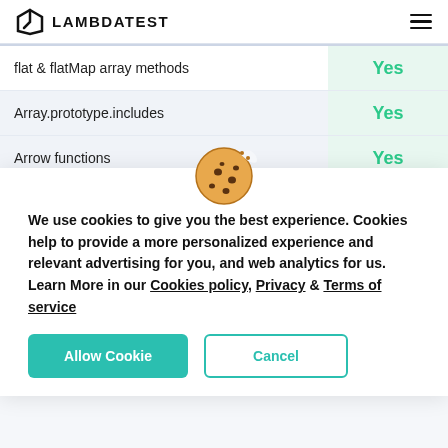LAMBDATEST
| Feature | Support |
| --- | --- |
| flat & flatMap array methods | Yes |
| Array.prototype.includes | Yes |
| Arrow functions | Yes |
[Figure (illustration): Cookie emoji icon]
We use cookies to give you the best experience. Cookies help to provide a more personalized experience and relevant advertising for you, and web analytics for us. Learn More in our Cookies policy, Privacy & Terms of service
Allow Cookie | Cancel